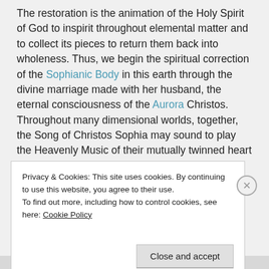The restoration is the animation of the Holy Spirit of God to inspirit throughout elemental matter and to collect its pieces to return them back into wholeness. Thus, we begin the spiritual correction of the Sophianic Body in this earth through the divine marriage made with her husband, the eternal consciousness of the Aurora Christos. Throughout many dimensional worlds, together, the Song of Christos Sophia may sound to play the Heavenly Music of their mutually twinned heart chord. The Song of Christos Sophia is ever present and...
Privacy & Cookies: This site uses cookies. By continuing to use this website, you agree to their use.
To find out more, including how to control cookies, see here: Cookie Policy
Close and accept